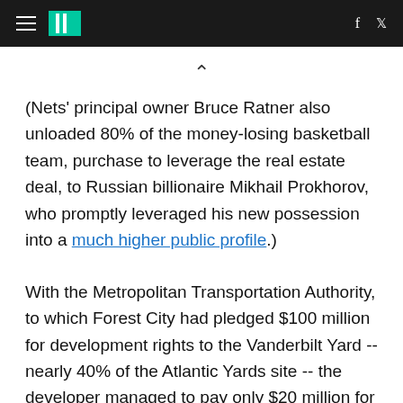HuffPost navigation header with hamburger menu, logo, Facebook and Twitter icons
(Nets' principal owner Bruce Ratner also unloaded 80% of the money-losing basketball team, purchase to leverage the real estate deal, to Russian billionaire Mikhail Prokhorov, who promptly leveraged his new possession into a much higher public profile.)
With the Metropolitan Transportation Authority, to which Forest City had pledged $100 million for development rights to the Vanderbilt Yard -- nearly 40% of the Atlantic Yards site -- the developer managed to pay only $20 million for the rights to the Yard, it worked for the